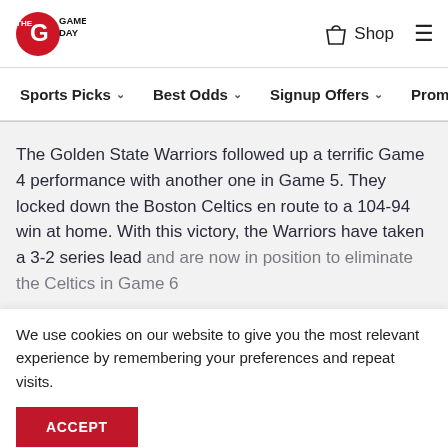The Game Day — Shop | Navigation: Sports Picks, Best Odds, Signup Offers, Promotions
The Golden State Warriors followed up a terrific Game 4 performance with another one in Game 5. They locked down the Boston Celtics en route to a 104-94 win at home. With this victory, the Warriors have taken a 3-2 series lead and are now in position to eliminate the Celtics in Game 6
We use cookies on our website to give you the most relevant experience by remembering your preferences and repeat visits.